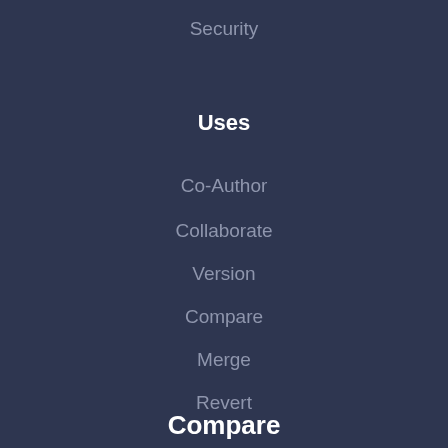Security
Uses
Co-Author
Collaborate
Version
Compare
Merge
Revert
Compare